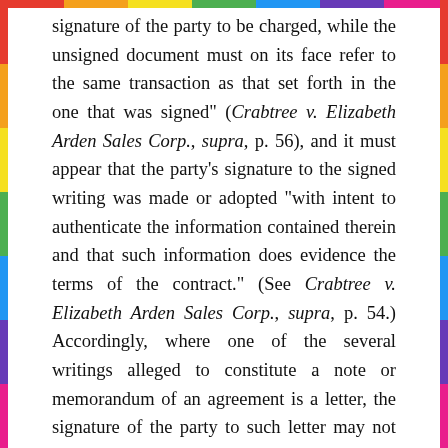signature of the party to be charged, while the unsigned document must on its face refer to the same transaction as that set forth in the one that was signed" (Crabtree v. Elizabeth Arden Sales Corp., supra, p. 56), and it must appear that the party's signature to the signed writing was made or adopted "with intent to authenticate the information contained therein and that such information does evidence the terms of the contract." (See Crabtree v. Elizabeth Arden Sales Corp., supra, p. 54.) Accordingly, where one of the several writings alleged to constitute a note or memorandum of an agreement is a letter, the signature of the party to such letter may not be accepted as a subscription of a note or memorandum in compliance with the statute unless the letter purports in some manner to assume or authenticate a contractual relationship in accordance with terms sufficiently stated therein or sufficiently stated in other existing and